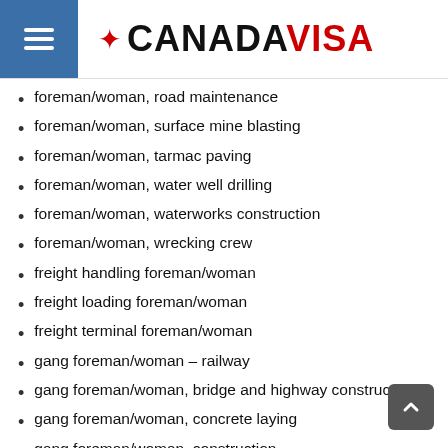CANADA VISA
foreman/woman, road maintenance
foreman/woman, surface mine blasting
foreman/woman, tarmac paving
foreman/woman, water well drilling
foreman/woman, waterworks construction
foreman/woman, wrecking crew
freight handling foreman/woman
freight loading foreman/woman
freight terminal foreman/woman
gang foreman/woman – railway
gang foreman/woman, bridge and highway construction
gang foreman/woman, concrete laying
gang foreman/woman, construction
general construction foreman/woman
general construction supervisor
grading equipment operators foreman/woman
heavy construction crew foreman/woman
heavy construction labourers foreman/woman
heavy equipment operators supervisor
heavy duty equipment operators foreman/woman